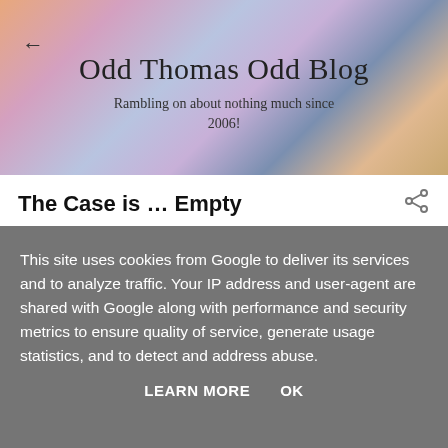Odd Thomas Odd Blog
Rambling on about nothing much since 2006!
The Case is … Empty
February 02, 2014
Since starting uni, everything from my sanity to my social life has taken something of a battering, so with a new
This site uses cookies from Google to deliver its services and to analyze traffic. Your IP address and user-agent are shared with Google along with performance and security metrics to ensure quality of service, generate usage statistics, and to detect and address abuse.
LEARN MORE    OK